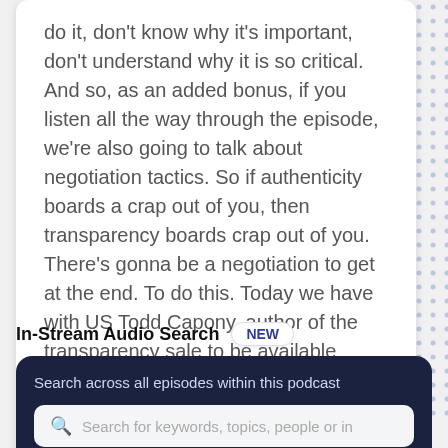do it, don't know why it's important, don't understand why it is so critical. And so, as an added bonus, if you listen all the way through the episode, we're also going to talk about negotiation tactics. So if authenticity boards a crap out of you, then transparency boards crap out of you. There's gonna be a negotiation to get at the end. To do this. Today we have with US Todd Capony, author of the transparency sale to be available seven days from today when Amazon and Bards and nobles. Now Todd's not just an author, he's also proven sales
In-Stream Audio Search
[Figure (illustration): Decorative dot pattern background in blue/purple dots on the right side]
Search across all episodes within this podcast
Search for keywords, topics, people or in